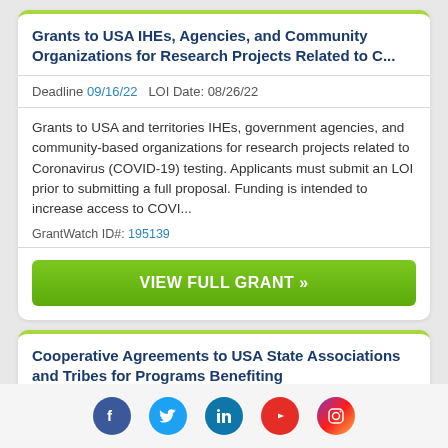Grants to USA IHEs, Agencies, and Community Organizations for Research Projects Related to C...
Deadline 09/16/22   LOI Date: 08/26/22
Grants to USA and territories IHEs, government agencies, and community-based organizations for research projects related to Coronavirus (COVID-19) testing. Applicants must submit an LOI prior to submitting a full proposal. Funding is intended to increase access to COVI...
GrantWatch ID#: 195139
VIEW FULL GRANT »
Cooperative Agreements to USA State Associations and Tribes for Programs Benefiting
Social media icons: Facebook, Twitter, LinkedIn, YouTube, Instagram